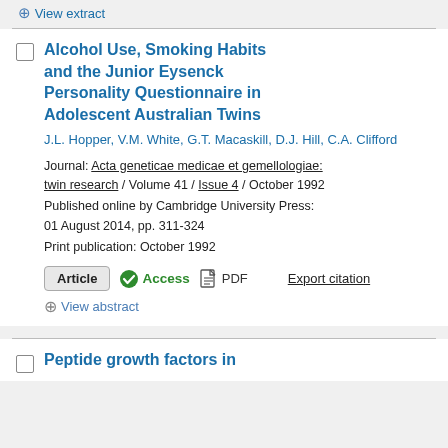+ View extract
Alcohol Use, Smoking Habits and the Junior Eysenck Personality Questionnaire in Adolescent Australian Twins
J.L. Hopper, V.M. White, G.T. Macaskill, D.J. Hill, C.A. Clifford
Journal: Acta geneticae medicae et gemellologiae: twin research / Volume 41 / Issue 4 / October 1992
Published online by Cambridge University Press: 01 August 2014, pp. 311-324
Print publication: October 1992
Article  Access  PDF  Export citation
+ View abstract
Peptide growth factors in